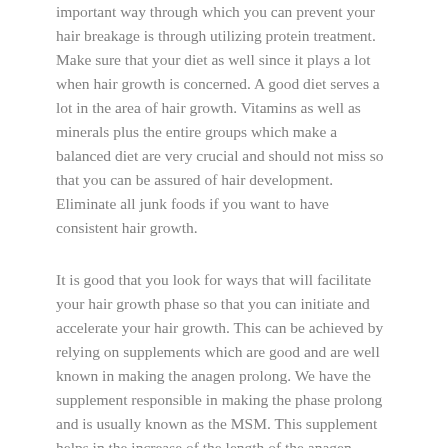important way through which you can prevent your hair breakage is through utilizing protein treatment. Make sure that your diet as well since it plays a lot when hair growth is concerned. A good diet serves a lot in the area of hair growth. Vitamins as well as minerals plus the entire groups which make a balanced diet are very crucial and should not miss so that you can be assured of hair development. Eliminate all junk foods if you want to have consistent hair growth.
It is good that you look for ways that will facilitate your hair growth phase so that you can initiate and accelerate your hair growth. This can be achieved by relying on supplements which are good and are well known in making the anagen prolong. We have the supplement responsible in making the phase prolong and is usually known as the MSM. This supplement helps in the increase of the length of the anagen